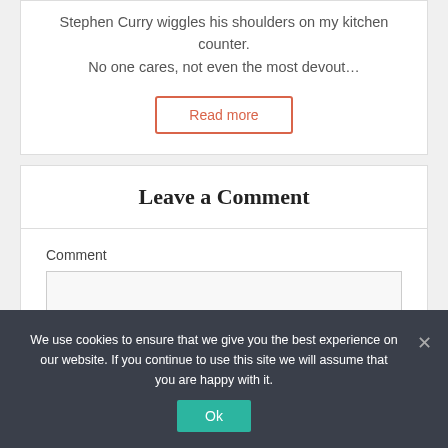Stephen Curry wiggles his shoulders on my kitchen counter. No one cares, not even the most devout…
Read more
Leave a Comment
Comment
We use cookies to ensure that we give you the best experience on our website. If you continue to use this site we will assume that you are happy with it.
Ok